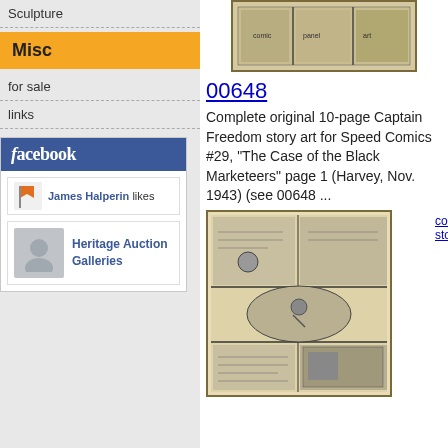Sculpture
Misc
for sale
links
[Figure (screenshot): Facebook widget showing 'facebook' header in blue, James Halperin likes with flag icon, and Heritage Auction Galleries profile with avatar]
[Figure (photo): Comic book art panel at top of right column - black and white comic artwork]
00648
Complete original 10-page Captain Freedom story art for Speed Comics #29, "The Case of the Black Marketeers" page 1 (Harvey, Nov. 1943) (see 00648 ...
[Figure (photo): Comic book page artwork showing Captain Freedom story art panels in black and white]
comple... story...